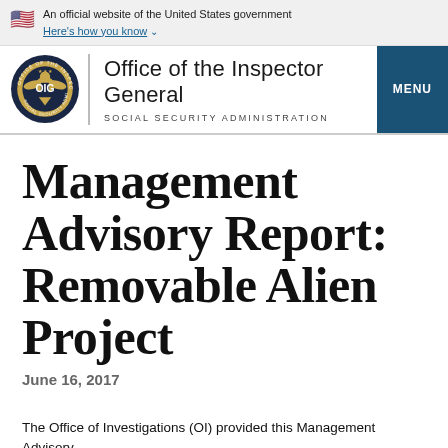An official website of the United States government Here's how you know
[Figure (logo): OIG seal logo for Office of the Inspector General, Social Security Administration, with MENU button]
Management Advisory Report: Removable Alien Project
June 16, 2017
The Office of Investigations (OI) provided this Management Advisory